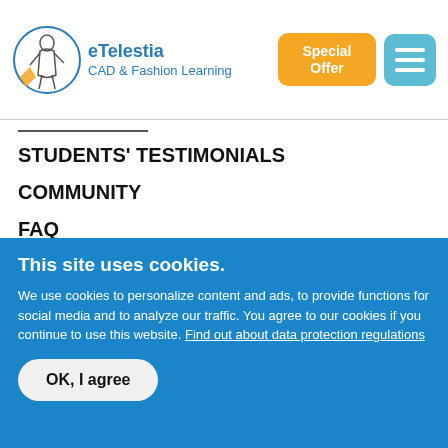[Figure (logo): eTelestia CAD & Fashion Learning logo with circular fashion illustration]
Special Offer | Menu
STUDENTS' TESTIMONIALS
COMMUNITY
FAQ
CONTACT US
SEARCH...
This site uses cookies. We use cookies to personalize content and ads, to provide functions for social media and to analyze our traffic. You agree to our cookies if you continue to use this website. Find out about data protection regulations
OK, I agree